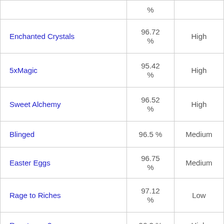| Game | % | Volatility |
| --- | --- | --- |
|  | % |  |
| Enchanted Crystals | 96.72 % | High |
| 5xMagic | 95.42 % | High |
| Sweet Alchemy | 96.52 % | High |
| Blinged | 96.5 % | Medium |
| Easter Eggs | 96.75 % | Medium |
| Rage to Riches | 97.12 % | Low |
| Reactoonz 2 | 96.2 % | High |